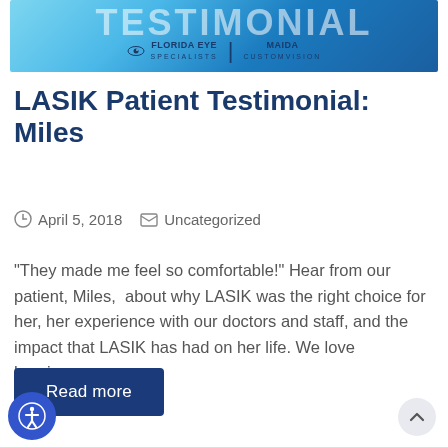[Figure (illustration): Florida Eye Specialists and Maida CustomVision banner with large TESTIMONIAL text and logos on a blue gradient background]
LASIK Patient Testimonial: Miles
April 5, 2018   Uncategorized
"They made me feel so comfortable!" Hear from our patient, Miles,  about why LASIK was the right choice for her, her experience with our doctors and staff, and the impact that LASIK has had on her life. We love hearing…
Read more